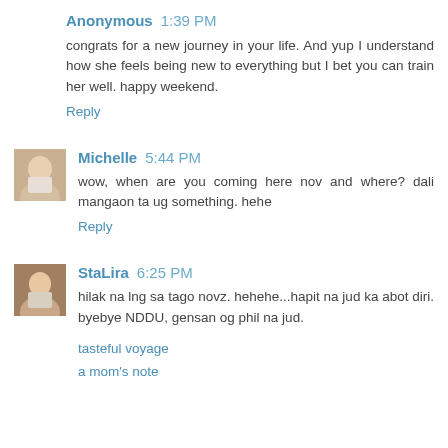Anonymous  1:39 PM
congrats for a new journey in your life. And yup I understand how she feels being new to everything but I bet you can train her well. happy weekend.
Reply
Michelle  5:44 PM
wow, when are you coming here nov and where? dali mangaon ta ug something. hehe
Reply
StaLira  6:25 PM
hilak na lng sa tago novz. hehehe...hapit na jud ka abot diri. byebye NDDU, gensan og phil na jud.
tasteful voyage
a mom's note